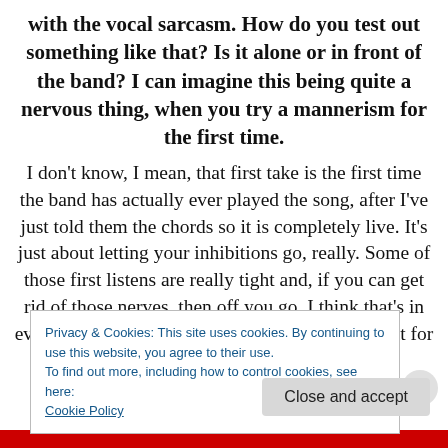with the vocal sarcasm. How do you test out something like that? Is it alone or in front of the band? I can imagine this being quite a nervous thing, when you try a mannerism for the first time.
I don't know, I mean, that first take is the first time the band has actually ever played the song, after I've just told them the chords so it is completely live. It's just about letting your inhibitions go, really. Some of those first listens are really tight and, if you can get rid of those nerves, then off you go. I think that's in everybody, but you've just got to work on that shit for a thousand hours
Privacy & Cookies: This site uses cookies. By continuing to use this website, you agree to their use. To find out more, including how to control cookies, see here: Cookie Policy
Close and accept